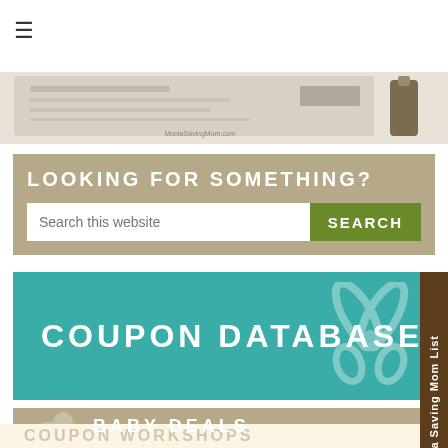≡
[Figure (photo): Partial photo of coupons/prescription with MoolaSavingMom.com watermark and a small bottle]
LOOKING FOR SOMETHING?
Search this website
SEARCH
[Figure (illustration): Coupon Database banner in teal with scissors graphic and white text reading COUPON DATABASE]
[Figure (illustration): Baby Deals banner in tan/khaki with duck graphic and white text reading BABY DEALS]
[Figure (illustration): Partial Coupon Workshops banner visible at bottom]
Moola Saving Mom List